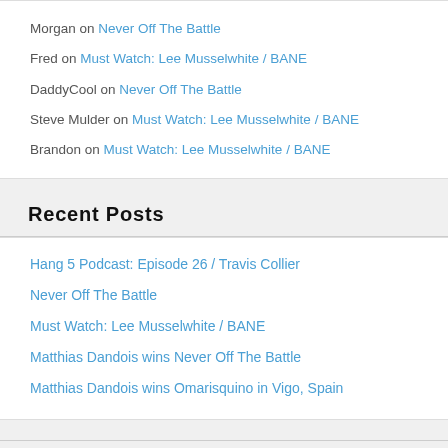Morgan on Never Off The Battle
Fred on Must Watch: Lee Musselwhite / BANE
DaddyCool on Never Off The Battle
Steve Mulder on Must Watch: Lee Musselwhite / BANE
Brandon on Must Watch: Lee Musselwhite / BANE
Recent Posts
Hang 5 Podcast: Episode 26 / Travis Collier
Never Off The Battle
Must Watch: Lee Musselwhite / BANE
Matthias Dandois wins Never Off The Battle
Matthias Dandois wins Omarisquino in Vigo, Spain
Copyright © 2022 Flat Matters Online. All Rights Reserved. Theme: Catch Box by Catch Themes